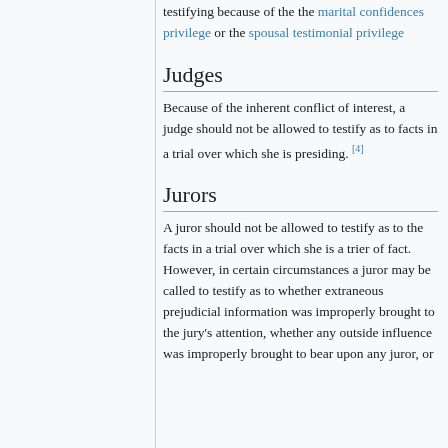testifying because of the the marital confidences privilege or the spousal testimonial privilege
Judges
Because of the inherent conflict of interest, a judge should not be allowed to testify as to facts in a trial over which she is presiding. [4]
Jurors
A juror should not be allowed to testify as to the facts in a trial over which she is a trier of fact. However, in certain circumstances a juror may be called to testify as to whether extraneous prejudicial information was improperly brought to the jury's attention, whether any outside influence was improperly brought to bear upon any juror, or